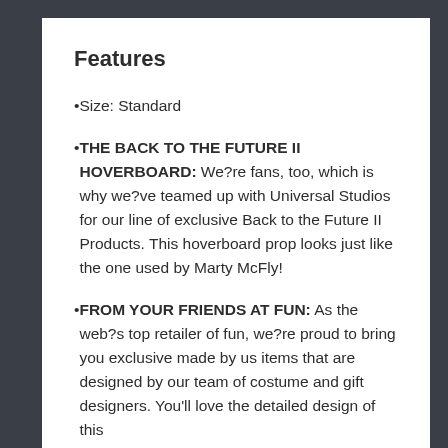Features
Size: Standard
THE BACK TO THE FUTURE II HOVERBOARD: We?re fans, too, which is why we?ve teamed up with Universal Studios for our line of exclusive Back to the Future II Products. This hoverboard prop looks just like the one used by Marty McFly!
FROM YOUR FRIENDS AT FUN: As the web?s top retailer of fun, we?re proud to bring you exclusive made by us items that are designed by our team of costume and gift designers. You'll love the detailed design of this